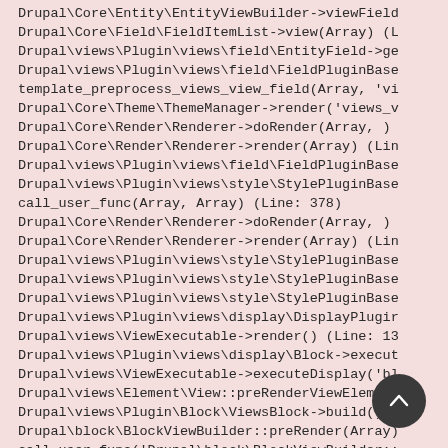Drupal\Core\Entity\EntityViewBuilder->viewField
Drupal\Core\Field\FieldItemList->view(Array) (L
Drupal\views\Plugin\views\field\EntityField->ge
Drupal\views\Plugin\views\field\FieldPluginBase
template_preprocess_views_view_field(Array, 'vi
Drupal\Core\Theme\ThemeManager->render('views_v
Drupal\Core\Render\Renderer->doRender(Array, )
Drupal\Core\Render\Renderer->render(Array) (Lin
Drupal\views\Plugin\views\field\FieldPluginBase
Drupal\views\Plugin\views\style\StylePluginBase
call_user_func(Array, Array) (Line: 378)
Drupal\Core\Render\Renderer->doRender(Array, )
Drupal\Core\Render\Renderer->render(Array) (Lin
Drupal\views\Plugin\views\style\StylePluginBase
Drupal\views\Plugin\views\style\StylePluginBase
Drupal\views\Plugin\views\style\StylePluginBase
Drupal\views\Plugin\views\display\DisplayPlugir
Drupal\views\ViewExecutable->render() (Line: 13
Drupal\views\Plugin\views\display\Block->execut
Drupal\views\ViewExecutable->executeDisplay('bl
Drupal\views\Element\View::preRenderViewElement
Drupal\views\Plugin\Block\ViewsBlock->build() (
Drupal\block\BlockViewBuilder::preRender(Array)
call_user_func('Drupal\block\BlockViewBuilder::